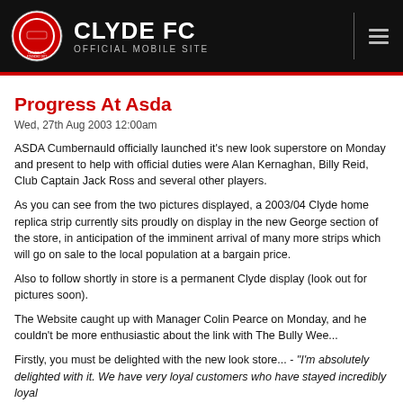CLYDE FC OFFICIAL MOBILE SITE
Progress At Asda
Wed, 27th Aug 2003 12:00am
ASDA Cumbernauld officially launched it's new look superstore on Monday and present to help with official duties were Alan Kernaghan, Billy Reid, Club Captain Jack Ross and several other players.
As you can see from the two pictures displayed, a 2003/04 Clyde home replica strip currently sits proudly on display in the new George section of the store, in anticipation of the imminent arrival of many more strips which will go on sale to the local population at a bargain price.
Also to follow shortly in store is a permanent Clyde display (look out for pictures soon).
The Website caught up with Manager Colin Pearce on Monday, and he couldn't be more enthusiastic about the link with The Bully Wee...
Firstly, you must be delighted with the new look store... - "I'm absolutely delighted with it. We have very loyal customers who have stayed incredibly loyal